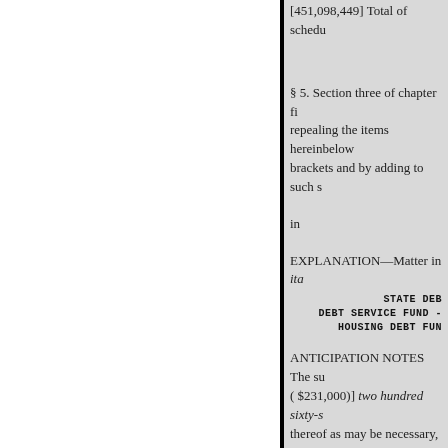[451,098,449] Total of schedu
§ 5. Section three of chapter fi repealing the items hereinbelow brackets and by adding to such s
in
EXPLANATION—Matter in ita
STATE DEB
DEBT SERVICE FUND - HOUSING DEBT FUN
ANTICIPATION NOTES The su ( $231,000)] two hundred sixty-s thereof as may be necessary,
is hereby appropriated for payme housing (urban renewal), during